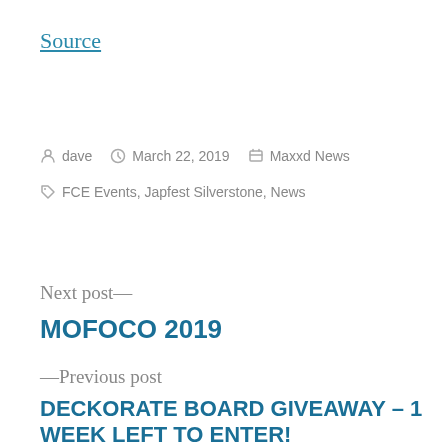Source
dave   March 22, 2019   Maxxd News
FCE Events, Japfest Silverstone, News
Next post—
MOFOCO 2019
—Previous post
DECKORATE BOARD GIVEAWAY – 1 WEEK LEFT TO ENTER!